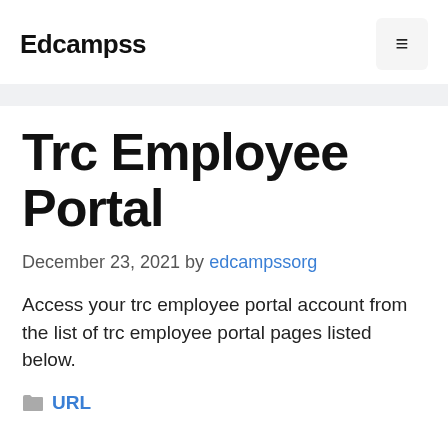Edcampss
Trc Employee Portal
December 23, 2021 by edcampssorg
Access your trc employee portal account from the list of trc employee portal pages listed below.
URL